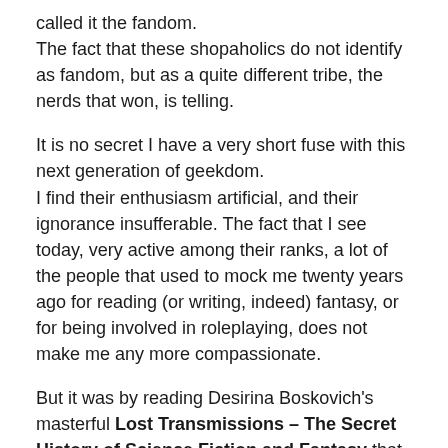called it the fandom. The fact that these shopaholics do not identify as fandom, but as a quite different tribe, the nerds that won, is telling.
It is no secret I have a very short fuse with this next generation of geekdom. I find their enthusiasm artificial, and their ignorance insufferable. The fact that I see today, very active among their ranks, a lot of the people that used to mock me twenty years ago for reading (or writing, indeed) fantasy, or for being involved in roleplaying, does not make me any more compassionate.
But it was by reading Desirina Boskovich's masterful Lost Transmissions – The Secret History of Science Fiction and Fantasy that I finally was able to put my finger on what many of these last-minute enthusiast lack: they do